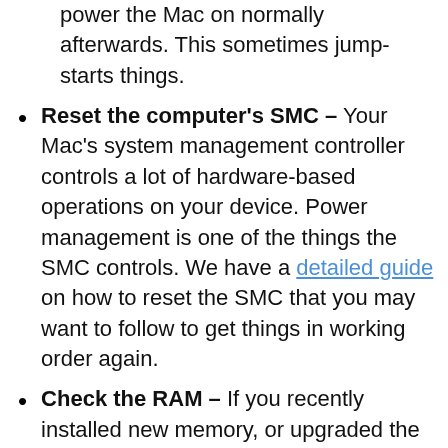power the Mac on normally afterwards. This sometimes jump-starts things.
Reset the computer’s SMC – Your Mac’s system management controller controls a lot of hardware-based operations on your device. Power management is one of the things the SMC controls. We have a detailed guide on how to reset the SMC that you may want to follow to get things in working order again.
Check the RAM – If you recently installed new memory, or upgraded the memory in your Mac, it may have been seated improperly. You may need to re-open your computer and re-seat the memory so that it’s properly installed. If you don’t seat the memory all the way, the computer will fail to